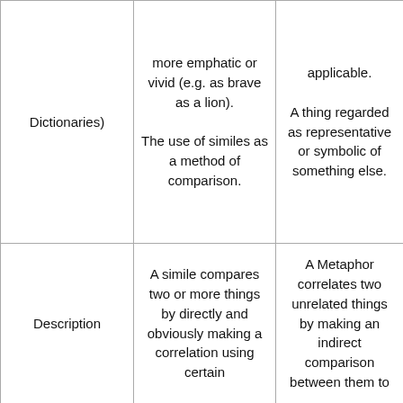| Dictionaries) | more emphatic or vivid (e.g. as brave as a lion).

The use of similes as a method of comparison. | applicable.

A thing regarded as representative or symbolic of something else. |
| Description | A simile compares two or more things by directly and obviously making a correlation using certain | A Metaphor correlates two unrelated things by making an indirect comparison between them to |